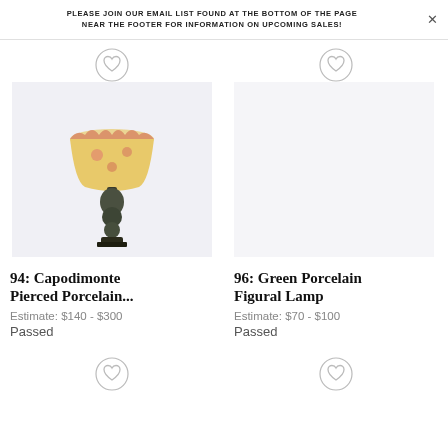PLEASE JOIN OUR EMAIL LIST FOUND AT THE BOTTOM OF THE PAGE NEAR THE FOOTER FOR INFORMATION ON UPCOMING SALES!
[Figure (photo): A Capodimonte pierced porcelain lamp with a yellow floral shade and dark decorative base, photographed against a light background.]
94: Capodimonte Pierced Porcelain...
Estimate: $140 - $300
Passed
[Figure (other): Empty product image area for lot 96: Green Porcelain Figural Lamp]
96: Green Porcelain Figural Lamp
Estimate: $70 - $100
Passed